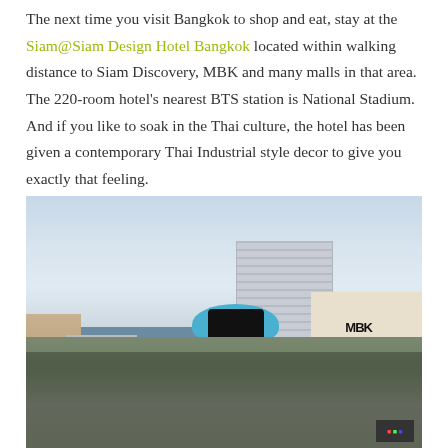The next time you visit Bangkok to shop and eat, stay at the Siam@Siam Design Hotel Bangkok located within walking distance to Siam Discovery, MBK and many malls in that area. The 220-room hotel's nearest BTS station is National Stadium. And if you like to soak in the Thai culture, the hotel has been given a contemporary Thai Industrial style decor to give you exactly that feeling.
[Figure (photo): Aerial street-level view of MBK Center shopping mall in Bangkok, Thailand, showing the busy intersection with yellow taxis and traffic, the MBK Center building with large signage, a large oval-shaped LED billboard, and surrounding urban streetscape under a cloudy sky.]